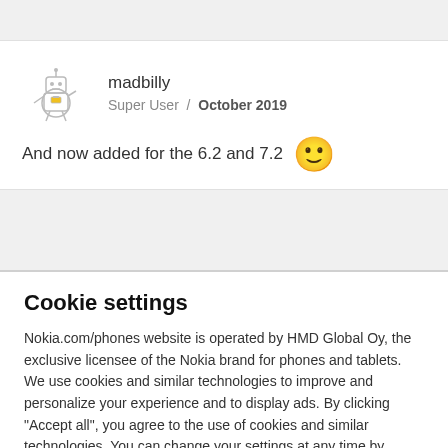madbilly
Super User / October 2019
And now added for the 6.2 and 7.2 🙂
Cookie settings
Nokia.com/phones website is operated by HMD Global Oy, the exclusive licensee of the Nokia brand for phones and tablets. We use cookies and similar technologies to improve and personalize your experience and to display ads. By clicking "Accept all", you agree to the use of cookies and similar technologies. You can change your settings at any time by selecting "Cookie Settings" at the bottom of the site. Learn more about our cookie
Manage preferences
Accept all